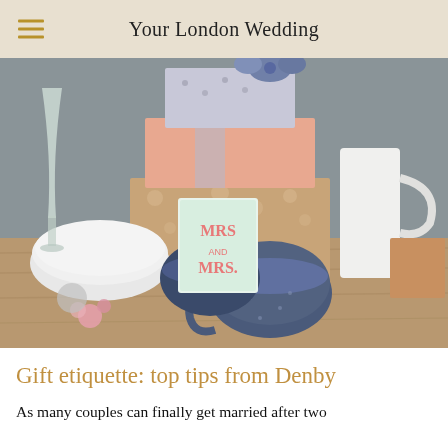Your London Wedding
[Figure (photo): Styled tabletop scene with wrapped gifts, blue speckled mugs, white ceramic jug, a card reading 'Mrs and Mrs', and champagne flute on a wooden surface]
Gift etiquette: top tips from Denby
As many couples can finally get married after two